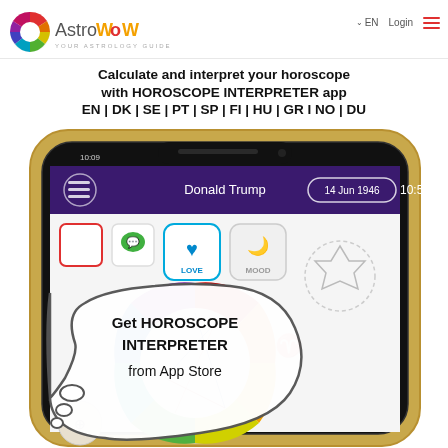[Figure (logo): AstroWOW logo with colorful circular icon and text 'AstroWOW YOUR ASTROLOGY GUIDE']
EN   Login
Calculate and interpret your horoscope with HOROSCOPE INTERPRETER app EN | DK | SE | PT | SP | FI | HU | GR I NO | DU
[Figure (screenshot): Smartphone screenshot showing the Horoscope Interpreter app with Donald Trump's chart dated 14 Jun 1946 10:54, showing Love and Mood buttons, astrological chart wheel, and a speech bubble saying 'Get HOROSCOPE INTERPRETER from App Store']